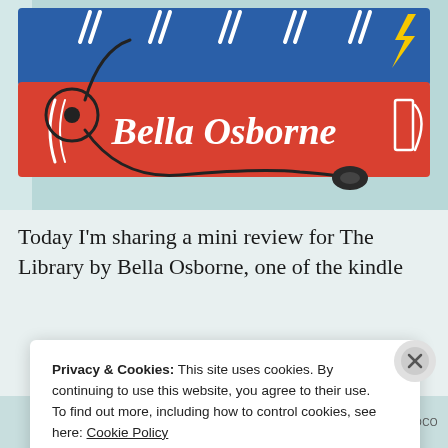[Figure (illustration): Colorful illustration of stacked books (blue on top, red below) with earbuds/headphones resting on them. The red book spine reads 'Bella Osborne' in white script. Background is light teal/blue.]
Today I'm sharing a mini review for The Library by Bella Osborne, one of the kindle
Privacy & Cookies: This site uses cookies. By continuing to use this website, you agree to their use.
To find out more, including how to control cookies, see here: Cookie Policy
Close and accept